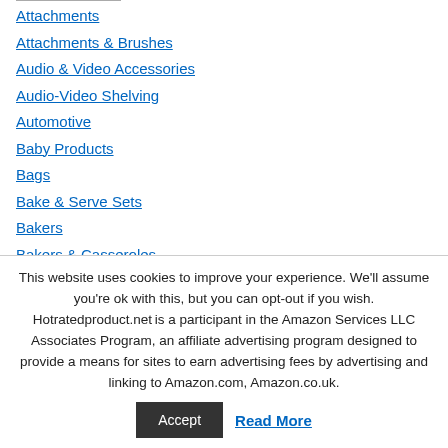Attachments
Attachments & Brushes
Audio & Video Accessories
Audio-Video Shelving
Automotive
Baby Products
Bags
Bake & Serve Sets
Bakers
Bakers & Casseroles
Bakery Take Out Containers
Bakeware
This website uses cookies to improve your experience. We'll assume you're ok with this, but you can opt-out if you wish. Hotratedproduct.net is a participant in the Amazon Services LLC Associates Program, an affiliate advertising program designed to provide a means for sites to earn advertising fees by advertising and linking to Amazon.com, Amazon.co.uk.